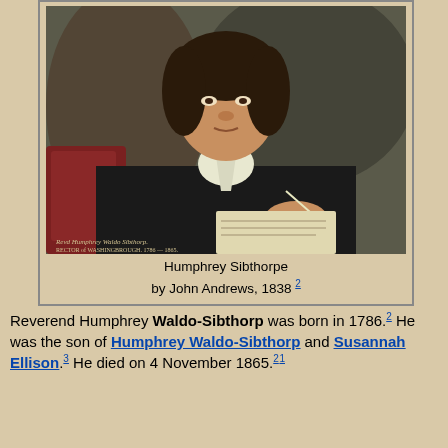[Figure (photo): Portrait painting of Reverend Humphrey Waldo-Sibthorp, a middle-aged man seated in dark clothing with a white cravat, holding a quill pen over paper. The inscription at the bottom reads 'Revd Humphrey Waldo Sibthorp. Rector of Washingbrough. 1786–1865.']
Humphrey Sibthorpe
by John Andrews, 1838 [2]
Reverend Humphrey Waldo-Sibthorp was born in 1786.[2] He was the son of Humphrey Waldo-Sibthorp and Susannah Ellison.[3] He died on 4 November 1865.[2][1]